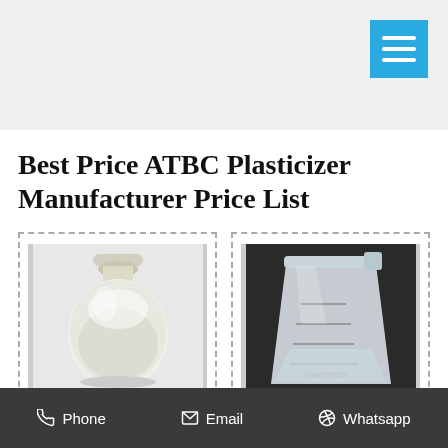[Figure (other): Blue hamburger menu button in top right corner of navigation bar]
Best Price ATBC Plasticizer Manufacturer Price List
[Figure (photo): Photo of ATBC Plasticizer in a clear glass bottle/flask with white liquid]
ATBC Plasticizer
[Figure (photo): Photo of atbc price in a glass beaker with clear liquid on dark background, labeled O BIOTECH]
atbc price, atbc price
Phone   Email   Whatsapp